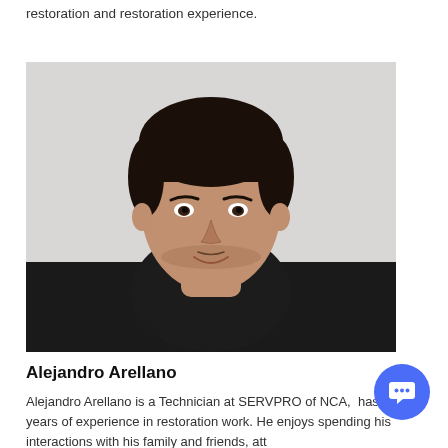restoration and restoration experience.
[Figure (photo): Headshot photo of Alejandro Arellano, a young man with dark hair, wearing a black crew-neck shirt, photographed against a light gray/white background.]
Alejandro Arellano
Alejandro Arellano is a Technician at SERVPRO of NCA… has 3 years of experience in restoration work. He enjoys spending his interactions with his family and friends, att...